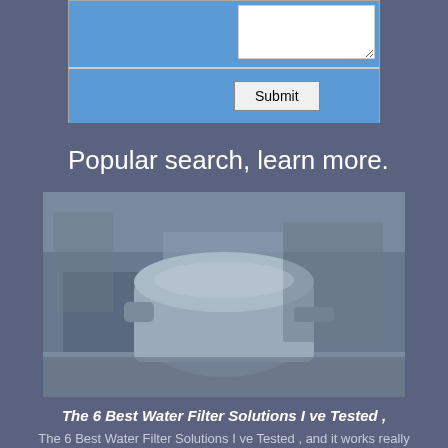[Figure (screenshot): Partial form with textarea and Submit button on blue background]
Popular search, learn more.
[Figure (photo): Industrial water filter or large machinery component in factory setting]
The 6 Best Water Filter Solutions I ve Tested ,
The 6 Best Water Filter Solutions I ve Tested , and it works really well Why Filter? For many people filtering improves the smell and taste of their water, ....
[Figure (photo): Another industrial/factory image partially visible at bottom]